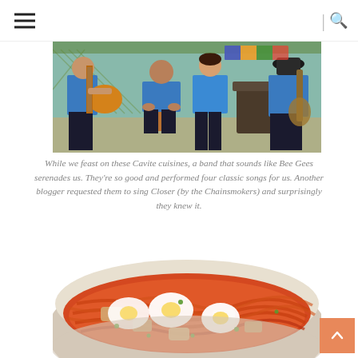Navigation menu and search
[Figure (photo): A band of musicians in blue shirts performing, one playing guitar on the left, a young boy sitting on a cajon drum in the center, another person in blue, and a musician on the right, at an outdoor restaurant setting.]
While we feast on these Cavite cuisines, a band that sounds like Bee Gees serenades us. They're so good and performed four classic songs for us. Another blogger requested them to sing Closer (by the Chainsmokers) and surprisingly they knew it.
[Figure (photo): A bowl of noodles (pancit) with orange/red sauce, topped with hard-boiled egg slices, pieces of chicken or seafood, and green onions, served in a white bowl.]